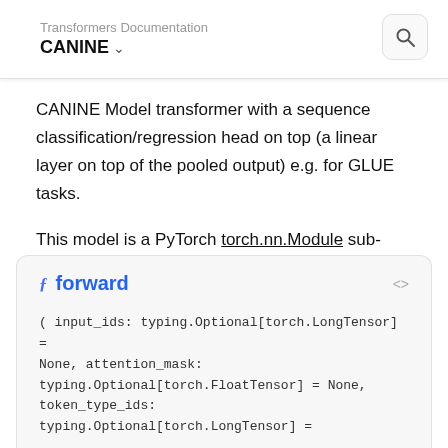Transformers Documentation
CANINE ∨
CANINE Model transformer with a sequence classification/regression head on top (a linear layer on top of the pooled output) e.g. for GLUE tasks.
This model is a PyTorch torch.nn.Module sub-class. Use it as a regular PyTorch Module and refer to the PyTorch documentation for all matter related to general usage and behavior.
ƒ forward <>
( input_ids: typing.Optional[torch.LongTensor] = None, attention_mask: typing.Optional[torch.FloatTensor] = None, token_type_ids: typing.Optional[torch.LongTensor] =